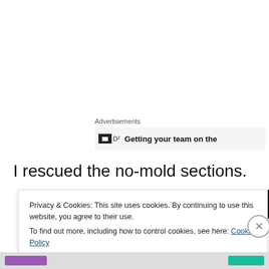Advertisements
[Figure (screenshot): Advertisement banner with play icon and text 'Getting your team on the']
I rescued the no-mold sections.
[Figure (photo): Dark photo strip partially visible at the bottom of the page]
Privacy & Cookies: This site uses cookies. By continuing to use this website, you agree to their use.
To find out more, including how to control cookies, see here: Cookie Policy
Close and accept